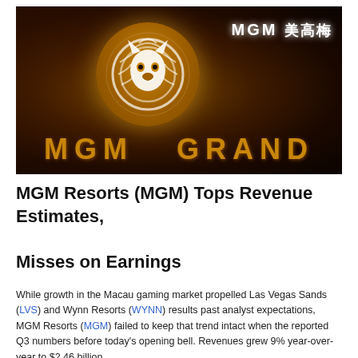[Figure (photo): Nighttime photo of MGM Grand casino exterior showing the illuminated golden lion logo circle, 'MGM GRAND' text in gold letters along the curved building facade, and white 'MGM 美高梅' signage in the upper right.]
MGM Resorts (MGM) Tops Revenue Estimates, Misses on Earnings
While growth in the Macau gaming market propelled Las Vegas Sands (LVS) and Wynn Resorts (WYNN) results past analyst expectations, MGM Resorts (MGM) failed to keep that trend intact when the reported Q3 numbers before today's opening bell. Revenues grew 9% year-over-year to $2.46 billion.